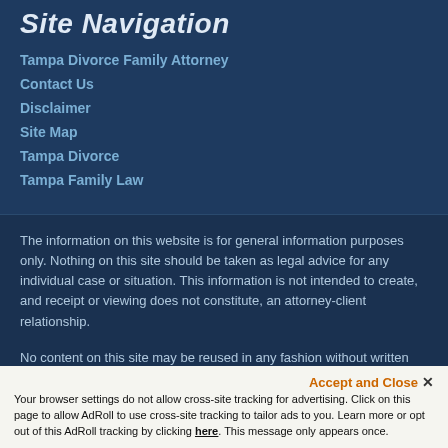Site Navigation
Tampa Divorce Family Attorney
Contact Us
Disclaimer
Site Map
Tampa Divorce
Tampa Family Law
The information on this website is for general information purposes only. Nothing on this site should be taken as legal advice for any individual case or situation. This information is not intended to create, and receipt or viewing does not constitute, an attorney-client relationship.
No content on this site may be reused in any fashion without written permission from All Family Law Group, P.A.
[Figure (logo): MilleMark Media logo with stylized 'm' mark]
Accept and Close ✕
Your browser settings do not allow cross-site tracking for advertising. Click on this page to allow AdRoll to use cross-site tracking to tailor ads to you. Learn more or opt out of this AdRoll tracking by clicking here. This message only appears once.